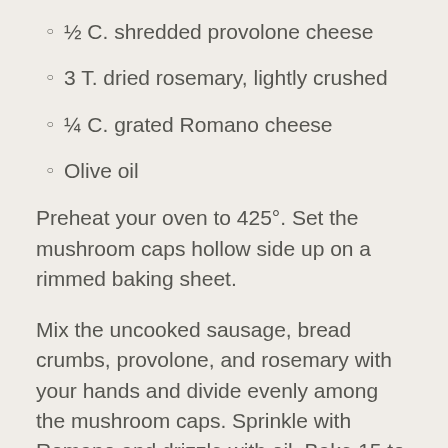½ C. shredded provolone cheese
3 T. dried rosemary, lightly crushed
¼ C. grated Romano cheese
Olive oil
Preheat your oven to 425°. Set the mushroom caps hollow side up on a rimmed baking sheet.
Mix the uncooked sausage, bread crumbs, provolone, and rosemary with your hands and divide evenly among the mushroom caps. Sprinkle with Romano and drizzle with oil. Bake 15 to 20 minutes or until the tops are bubbly and brown and the sausage is cooked. Garnish if you'd like with chopped